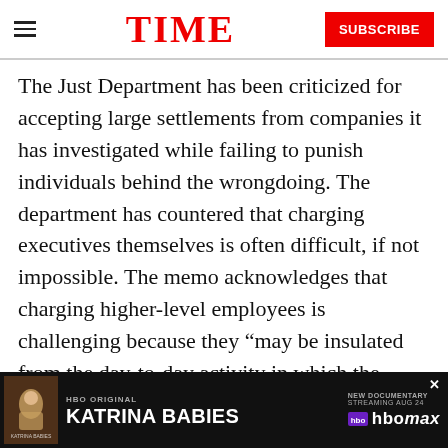TIME | SUBSCRIBE
The Just Department has been criticized for accepting large settlements from companies it has investigated while failing to punish individuals behind the wrongdoing. The department has countered that charging executives themselves is often difficult, if not impossible. The memo acknowledges that charging higher-level employees is challenging because they “may be insulated from the day-to-day activity in which the misconduct occurs.”
In an interview with the Times, Yates explained the Justice Department’s new approach of being... towards
[Figure (screenshot): Advertisement banner for HBO Original documentary 'Katrina Babies', new documentary streaming on HBO Max. Shows poster art and HBO Max logo with close button.]